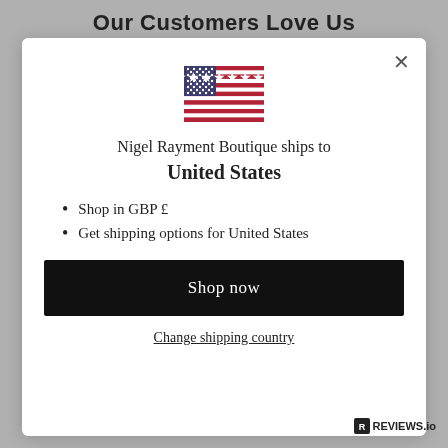Our Customers Love Us
[Figure (illustration): US flag emoji/icon centered in modal dialog]
Nigel Rayment Boutique ships to United States
Shop in GBP £
Get shipping options for United States
Shop now
Change shipping country
REVIEWS.io